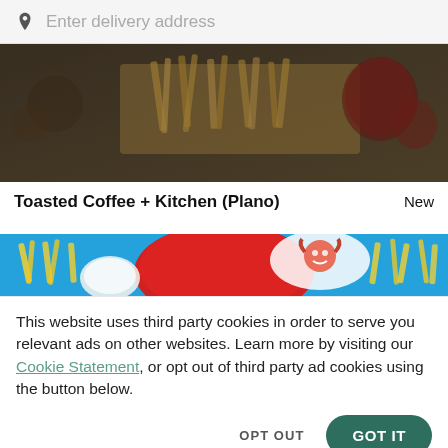[Figure (screenshot): Search bar with location pin icon and placeholder text 'Enter delivery address' on a light grey background]
[Figure (photo): Overhead photo of fast food items including french fries, dipping sauce cups on a dark table]
Toasted Coffee + Kitchen (Plano)
New
[Figure (photo): Overhead photo of Wendy's branded food items on a bright blue background including fries, dipping sauces, and a Wendy's logo cup]
This website uses third party cookies in order to serve you relevant ads on other websites. Learn more by visiting our Cookie Statement, or opt out of third party ad cookies using the button below.
OPT OUT
GOT IT